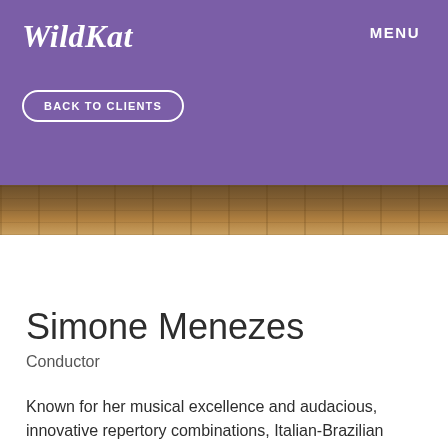WildKat
MENU
BACK TO CLIENTS
[Figure (photo): Partial view of a concert hall interior with ornate architectural details, columns and balconies visible in warm golden-brown tones.]
Simone Menezes
Conductor
Known for her musical excellence and audacious, innovative repertory combinations, Italian-Brazilian